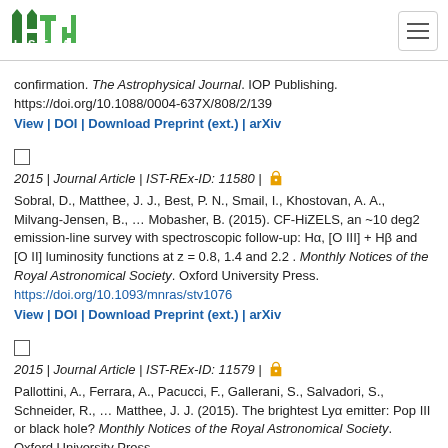ISTA logo and navigation
confirmation. The Astrophysical Journal. IOP Publishing. https://doi.org/10.1088/0004-637X/808/2/139
View | DOI | Download Preprint (ext.) | arXiv
2015 | Journal Article | IST-REx-ID: 11580 | [open access]
Sobral, D., Matthee, J. J., Best, P. N., Smail, I., Khostovan, A. A., Milvang-Jensen, B., … Mobasher, B. (2015). CF-HiZELS, an ~10 deg2 emission-line survey with spectroscopic follow-up: Hα, [O III] + Hβ and [O II] luminosity functions at z = 0.8, 1.4 and 2.2 . Monthly Notices of the Royal Astronomical Society. Oxford University Press. https://doi.org/10.1093/mnras/stv1076
View | DOI | Download Preprint (ext.) | arXiv
2015 | Journal Article | IST-REx-ID: 11579 | [open access]
Pallottini, A., Ferrara, A., Pacucci, F., Gallerani, S., Salvadori, S., Schneider, R., … Matthee, J. J. (2015). The brightest Lyα emitter: Pop III or black hole? Monthly Notices of the Royal Astronomical Society. Oxford University Press.